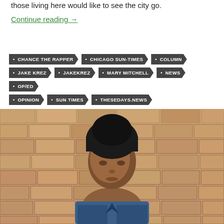those living here would like to see the city go.
Continue reading →
CHANCE THE RAPPER
CHICAGO SUN-TIMES
COLUMN
JAKE KREZ
JAKEKREZ
MARY MITCHELL
NEWS
OP/ED
OPINION
SUN TIMES
THESEDAYS.NEWS
[Figure (photo): Young Black woman wearing a black beanie and denim jacket, leaning against a brick wall, looking at the camera with a neutral expression.]